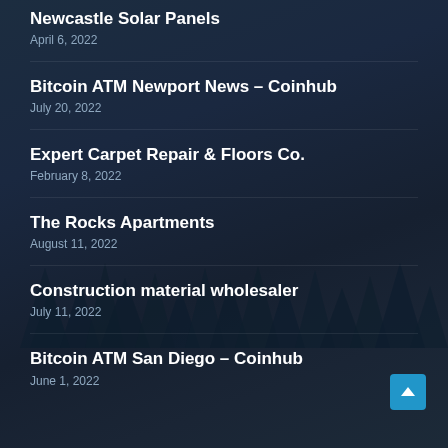Newcastle Solar Panels
April 6, 2022
Bitcoin ATM Newport News – Coinhub
July 20, 2022
Expert Carpet Repair & Floors Co.
February 8, 2022
The Rocks Apartments
August 11, 2022
Construction material wholesaler
July 11, 2022
Bitcoin ATM San Diego – Coinhub
June 1, 2022